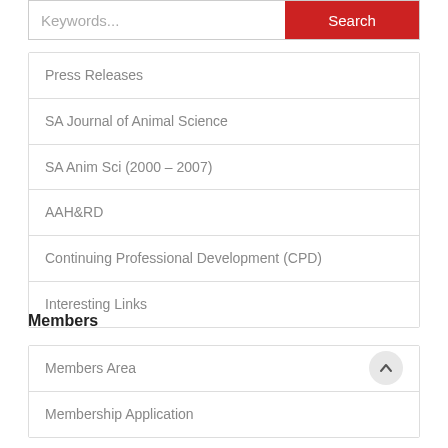Press Releases
SA Journal of Animal Science
SA Anim Sci (2000 – 2007)
AAH&RD
Continuing Professional Development (CPD)
Interesting Links
Members
Members Area
Membership Application